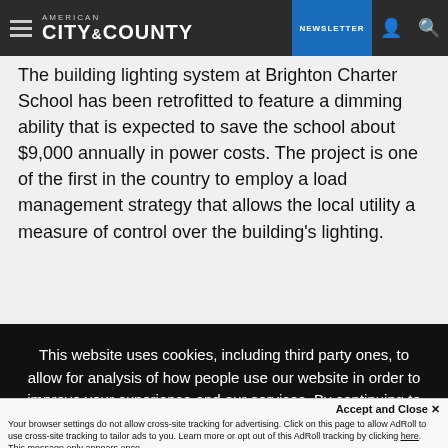American City & County — NEWSLETTER
The building lighting system at Brighton Charter School has been retrofitted to feature a dimming ability that is expected to save the school about $9,000 annually in power costs. The project is one of the first in the country to employ a load management strategy that allows the local utility a measure of control over the building's lighting.
This website uses cookies, including third party ones, to allow for analysis of how people use our website in order to improve your experience and our services. By continuing to use our website, you agree to the use of such cookies. Click here for more information on our Cookie Policy and Privacy Policy.
Accept and Close ✕
Your browser settings do not allow cross-site tracking for advertising. Click on this page to allow AdRoll to use cross-site tracking to tailor ads to you. Learn more or opt out of this AdRoll tracking by clicking here. This message only appears once.